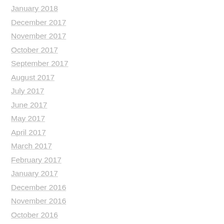January 2018
December 2017
November 2017
October 2017
September 2017
August 2017
July 2017
June 2017
May 2017
April 2017
March 2017
February 2017
January 2017
December 2016
November 2016
October 2016
July 2016
June 2016
May 2016